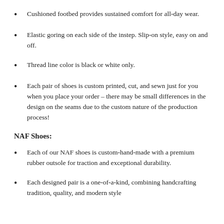Cushioned footbed provides sustained comfort for all-day wear.
Elastic goring on each side of the instep. Slip-on style, easy on and off.
Thread line color is black or white only.
Each pair of shoes is custom printed, cut, and sewn just for you when you place your order – there may be small differences in the design on the seams due to the custom nature of the production process!
NAF Shoes:
Each of our NAF shoes is custom-hand-made with a premium rubber outsole for traction and exceptional durability.
Each designed pair is a one-of-a-kind, combining handcrafting tradition, quality, and modern style